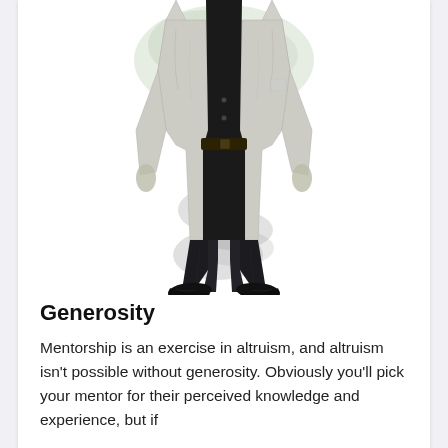[Figure (illustration): A figure of a man from the torso down, wearing a light/white blazer jacket with dark trousers and black shoes. Watercolor-style ink splotches in grey/green tones surround the figure.]
Generosity
Mentorship is an exercise in altruism, and altruism isn't possible without generosity. Obviously you'll pick your mentor for their perceived knowledge and experience, but if